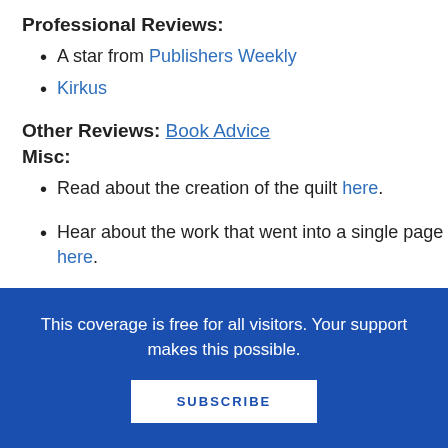Professional Reviews:
A star from Publishers Weekly
Kirkus
Other Reviews: Book Advice
Misc:
Read about the creation of the quilt here.
Hear about the work that went into a single page here.
Videos:
This coverage is free for all visitors. Your support makes this possible.
SUBSCRIBE